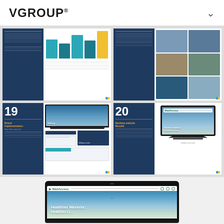VGROUP®
[Figure (screenshot): Grid of four document/presentation thumbnails showing pages 17-20 of a VGROUP report, featuring bar charts, photo grids, laptop mockups, and monitor mockups with blue and white design]
[Figure (screenshot): Large laptop mockup showing MedAccess website with tagline 'Healthier Markets. Healthier Lives.' on a teal/blue gradient background]